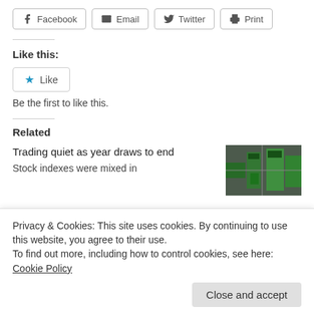[Figure (other): Social share buttons row: Facebook, Email, Twitter, Print]
Like this:
[Figure (other): Like button with blue star icon]
Be the first to like this.
Related
Trading quiet as year draws to end
Stock indexes were mixed in
[Figure (photo): Aerial photo of city streets with green taxis]
Privacy & Cookies: This site uses cookies. By continuing to use this website, you agree to their use.
To find out more, including how to control cookies, see here: Cookie Policy
Close and accept